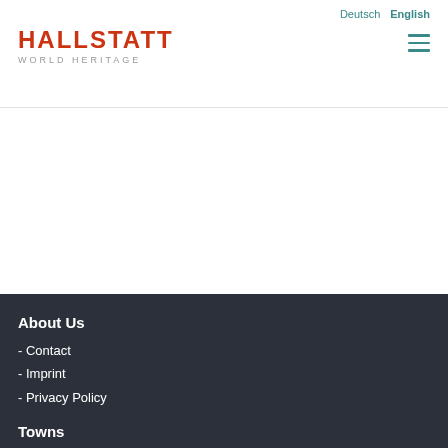Deutsch  English
HALLSTATT WORLD HERITAGE
About Us
- Contact
- Imprint
- Privacy Policy
Towns
- Hallstatt